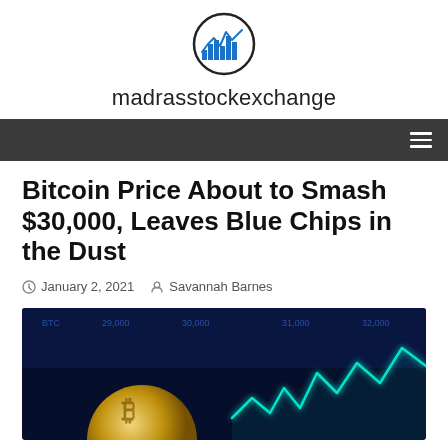[Figure (logo): Madras Stock Exchange logo: a circular logo with a blue line chart and bar chart icon inside]
madrasstockexchange
navigation bar with hamburger menu
Bitcoin Price About to Smash $30,000, Leaves Blue Chips in the Dust
January 2, 2021   Savannah Barnes
[Figure (photo): A Bitcoin coin in the foreground with a glowing cyan/teal stock market line chart on a dark blue background behind it]